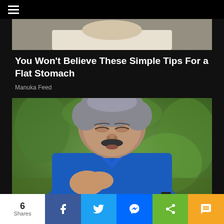☰
[Figure (photo): Cropped top portion of a person's head/shoulders, partially visible at top of page]
You Won't Believe These Simple Tips For a Flat Stomach
Manuka Feed
[Figure (photo): Middle-aged man with gray hair in a blue polo shirt, eyes closed, holding his hand to his chest/heart, appearing to be in pain, outdoors with green trees in background]
6 Shares